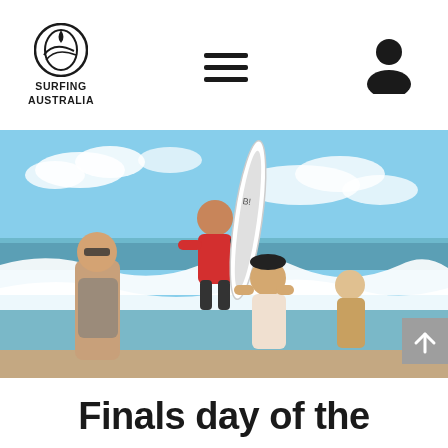[Figure (logo): Surfing Australia logo with circular wave graphic and text SURFING AUSTRALIA below]
[Figure (other): Hamburger menu icon (three horizontal lines)]
[Figure (other): User/profile silhouette icon]
[Figure (photo): Young surfer in red rash guard holding a white surfboard, being carried on shoulders by two women on a beach, with ocean waves in background. Another person visible behind them.]
Finals day of the